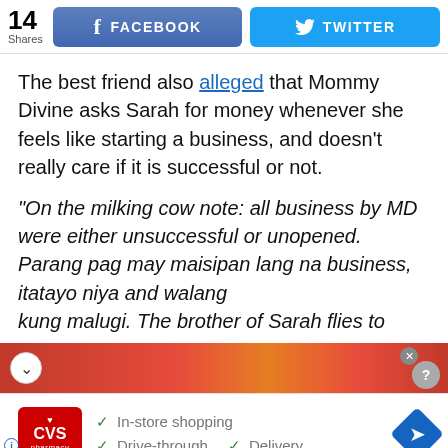[Figure (screenshot): Social media share bar with 14 Shares, Facebook button and Twitter button]
The best friend also alleged that Mommy Divine asks Sarah for money whenever she feels like starting a business, and doesn't really care if it is successful or not.
“On the milking cow note: all business by MD were either unsuccessful or unopened. Parang pag may maisipan lang na business, itatayo niya and walang kung malugi. The brother of Sarah flies to Japan too
[Figure (screenshot): Partial advertisement overlay with red/orange background and collapse button]
[Figure (screenshot): CVS Pharmacy advertisement with In-store shopping, Drive-through, and Delivery checkmarks]